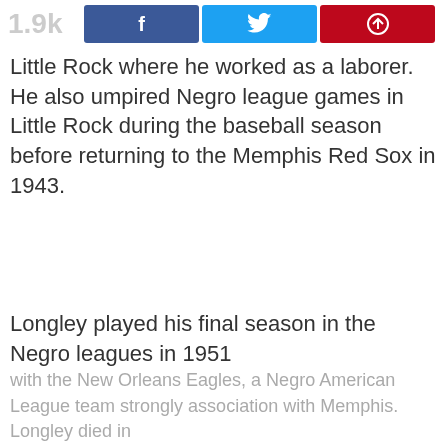1.9k  f  [twitter]  [pinterest]
Little Rock where he worked as a laborer. He also umpired Negro league games in Little Rock during the baseball season before returning to the Memphis Red Sox in 1943.
Longley played his final season in the Negro leagues in 1951 with the New Orleans Eagles, a Negro American League team strongly association with Memphis. Longley died in